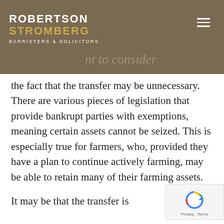ROBERTSON STROMBERG BARRISTERS & SOLICITORS
the fact that the transfer may be unnecessary. There are various pieces of legislation that provide bankrupt parties with exemptions, meaning certain assets cannot be seized. This is especially true for farmers, who, provided they have a plan to continue actively farming, may be able to retain many of their farming assets.

It may be that the transfer is